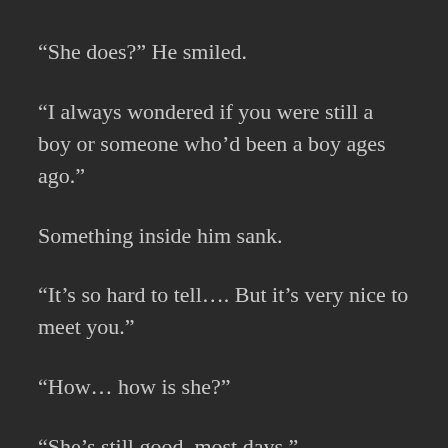“She does?” He smiled.
“I always wondered if you were still a boy or someone who’d been a boy ages ago.”
Something inside him sank.
“It’s so hard to tell…. But it’s very nice to meet you.”
“How… how is she?”
“She’s still good, most days.”
He was afraid to ask what exactly constituted…